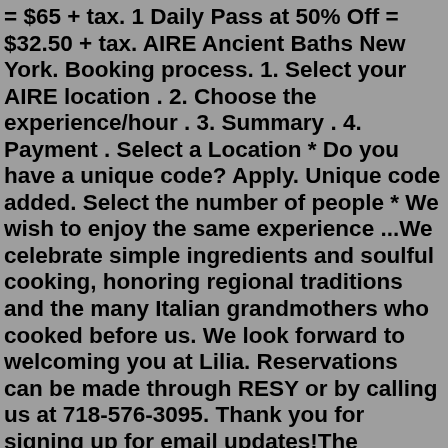= $65 + tax. 1 Daily Pass at 50% Off = $32.50 + tax. AIRE Ancient Baths New York. Booking process. 1. Select your AIRE location . 2. Choose the experience/hour . 3. Summary . 4. Payment . Select a Location * Do you have a unique code? Apply. Unique code added. Select the number of people * We wish to enjoy the same experience ...We celebrate simple ingredients and soulful cooking, honoring regional traditions and the many Italian grandmothers who cooked before us. We look forward to welcoming you at Lilia. Reservations can be made through RESY or by calling us at 718-576-3095. Thank you for signing up for email updates!The response of the Haredi Jewish community in Brooklyn, New York City, to allegations of sexual abuse against its spiritual leaders has drawn scrutiny.When teachers, rabbis, and other leaders have been accused of sexual abuse, authorities in the Haredi community have often failed to report offenses to Brooklyn police, intimidated witnesses, and encouraged shunning against victims and those ...Wall Street has a swanky lounge over a while the...